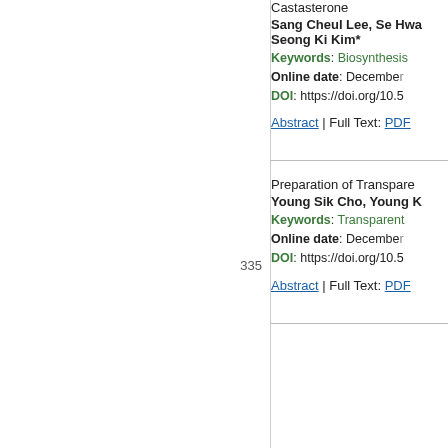Castasterone
Sang Cheul Lee, Se Hwa, Seong Ki Kim*
Keywords: Biosynthesis
Online date: December
DOI: https://doi.org/10.5
Abstract | Full Text: PDF
335 Preparation of Transpare
Young Sik Cho, Young K
Keywords: Transparent
Online date: December
DOI: https://doi.org/10.5
Abstract | Full Text: PDF